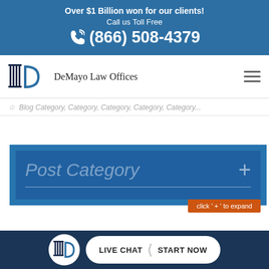Over $1 Billion won for our clients! Call us Toll Free (866) 508-4379
[Figure (logo): DeMayo Law Offices logo with column and D icon]
☆ Blog Category, Category, Category, Category, ...
Post Category
click ' + ' to expand
LIVE CHAT  START NOW